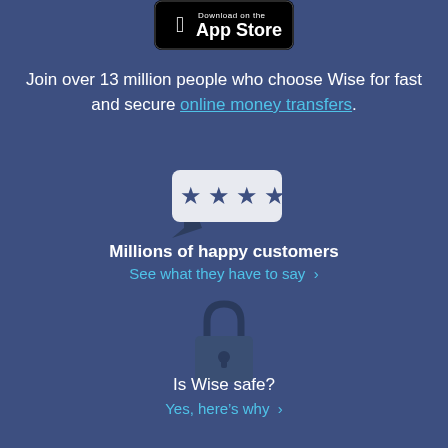[Figure (logo): Download on the App Store badge with Apple logo]
Join over 13 million people who choose Wise for fast and secure online money transfers.
[Figure (illustration): Chat bubble icon with five stars inside]
Millions of happy customers
See what they have to say >
[Figure (illustration): Padlock icon]
Is Wise safe?
Yes, here's why >